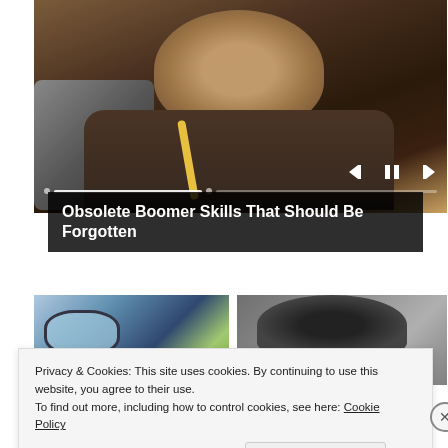[Figure (photo): An older bearded man wearing glasses and a brown jacket with a measuring tape around his neck, sitting at a sewing machine. Slideshow/video player with playback controls and progress bar overlay.]
Obsolete Boomer Skills That Should Be Forgotten
[Figure (photo): Two thumbnail images side by side: left shows a person with reflective glasses near a window with green trees; right shows the top of a person's head with curly dark hair.]
Privacy & Cookies: This site uses cookies. By continuing to use this website, you agree to their use.
To find out more, including how to control cookies, see here: Cookie Policy
Close and accept